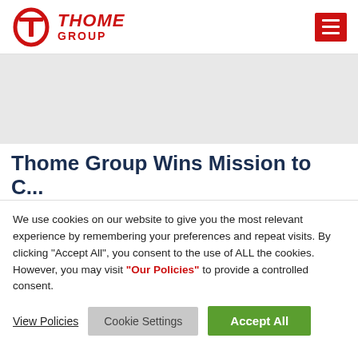Thome Group
[Figure (other): Gray hero banner image placeholder]
Thome Group Wins Mission to
We use cookies on our website to give you the most relevant experience by remembering your preferences and repeat visits. By clicking "Accept All", you consent to the use of ALL the cookies. However, you may visit "Our Policies" to provide a controlled consent.
View Policies | Cookie Settings | Accept All